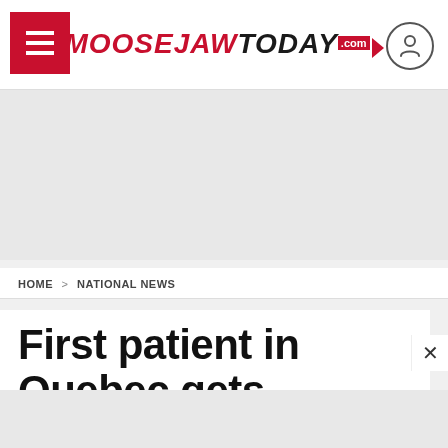MooseJaw TODAY .com
[Figure (other): Gray advertisement banner area]
HOME > NATIONAL NEWS
First patient in Quebec gets approval from